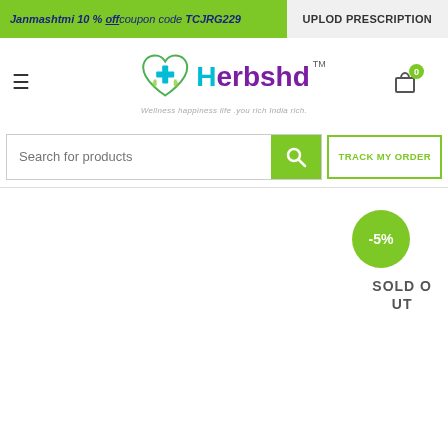Janmashtmi 10 % off coupon code TCJRG229 | UPLOD PRESCRIPTION
[Figure (logo): Herbshd logo with heart and cross icon, tagline: Wellness happiness life .you rich India rich.]
Search for products
TRACK MY ORDER
-5%
SOLD OUT